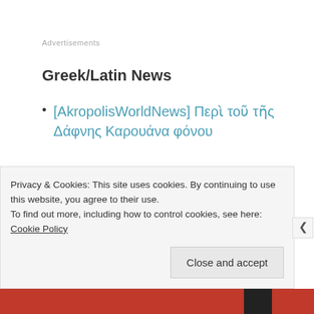Advertisements
Greek/Latin News
[AkropolisWorldNews] Περὶ τοῦ τῆς Δάφνης Καρουάνα φόνου
Public Facing Classics
Privacy & Cookies: This site uses cookies. By continuing to use this website, you agree to their use.
To find out more, including how to control cookies, see here: Cookie Policy
Close and accept